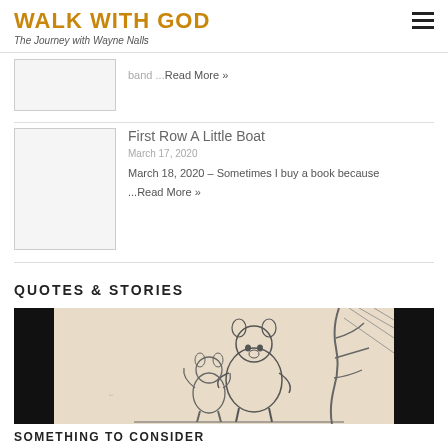WALK WITH GOD – The Journey with Wayne Nalls
band ...Read More »
First Row A Little Boat
March 17, 2020
March 18, 2020 – Sometimes I buy a book because ...Read More »
QUOTES & STORIES
[Figure (illustration): Sketch illustration showing Winnie the Pooh and Piglet walking, with black bars on left and right sides of the image]
SOMETHING TO CONSIDER